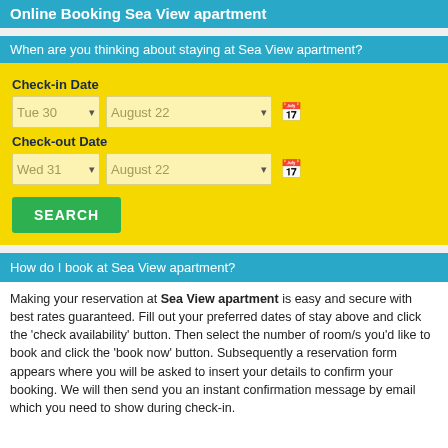Online Booking Sea View apartment
When are you thinking about staying at Sea View apartment?
[Figure (screenshot): Online booking form with check-in date (Tue 30, August 22), check-out date (Wed 31, August 22), and a SEARCH button, all on yellow background]
How do I book at Sea View apartment?
Making your reservation at Sea View apartment is easy and secure with best rates guaranteed. Fill out your preferred dates of stay above and click the 'check availability' button. Then select the number of room/s you'd like to book and click the 'book now' button. Subsequently a reservation form appears where you will be asked to insert your details to confirm your booking. We will then send you an instant confirmation message by email which you need to show during check-in.